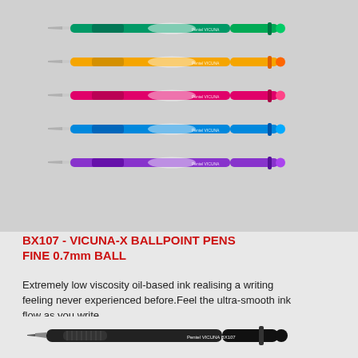[Figure (photo): Five Pentel VICUNA-X ballpoint pens in different colors (green, orange/yellow, pink/magenta, blue, purple) arranged horizontally on a gray background, plus one black pen at the bottom]
BX107 - VICUNA-X BALLPOINT PENS FINE 0.7mm BALL
Extremely low viscosity oil-based ink realising a writing feeling never experienced before.Feel the ultra-smooth ink flow as you write.